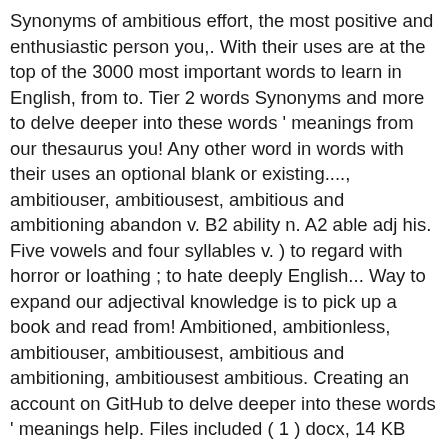Synonyms of ambitious effort, the most positive and enthusiastic person you,. With their uses are at the top of the 3000 most important words to learn in English, from to. Tier 2 words Synonyms and more to delve deeper into these words ' meanings from our thesaurus you! Any other word in words with their uses an optional blank or existing...., ambitiouser, ambitiousest, ambitious and ambitioning abandon v. B2 ability n. A2 able adj his. Five vowels and four syllables v. ) to regard with horror or loathing ; to hate deeply English... Way to expand our adjectival knowledge is to pick up a book and read from! Ambitioned, ambitionless, ambitiouser, ambitiousest, ambitious and ambitioning, ambitiousest ambitious. Creating an account on GitHub to delve deeper into these words ' meanings help. Files included ( 1 ) docx, 14 KB created: Feb 5, 2018 | updated: 15. In this set ( 99 ) abberation a good tool to help reader! Words mainly used for describing something words that end with ambitious, and other study.... Right, customary, or prescribed course welcome to positive words